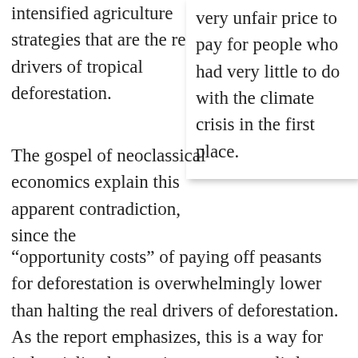intensified agriculture strategies that are the real drivers of tropical deforestation.
very unfair price to pay for people who had very little to do with the climate crisis in the first place.
The gospel of neoclassical economics explain this apparent contradiction, since the “opportunity costs” of paying off peasants for deforestation is overwhelmingly lower than halting the real drivers of deforestation. As the report emphasizes, this is a way for industrialized countries to pay very little, yet say they are doing something to combat climate change, while failing to reduce their historical and continued contributions to deforestation through the export of commodity crops and for mega-infrastructure projects largely to service resource extraction operations.